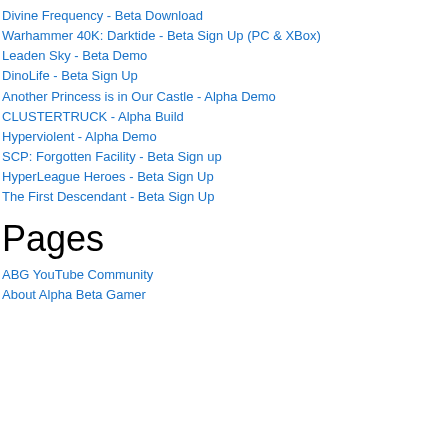Divine Frequency - Beta Download
Warhammer 40K: Darktide - Beta Sign Up (PC & XBox)
Leaden Sky - Beta Demo
DinoLife - Beta Sign Up
Another Princess is in Our Castle - Alpha Demo
CLUSTERTRUCK - Alpha Build
Hyperviolent - Alpha Demo
SCP: Forgotten Facility - Beta Sign up
HyperLeague Heroes - Beta Sign Up
The First Descendant - Beta Sign Up
Pages
ABG YouTube Community
About Alpha Beta Gamer